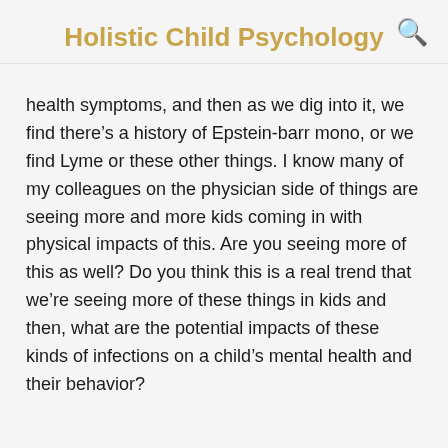Holistic Child Psychology
health symptoms, and then as we dig into it, we find there’s a history of Epstein-barr mono, or we find Lyme or these other things. I know many of my colleagues on the physician side of things are seeing more and more kids coming in with physical impacts of this. Are you seeing more of this as well? Do you think this is a real trend that we’re seeing more of these things in kids and then, what are the potential impacts of these kinds of infections on a child’s mental health and their behavior?